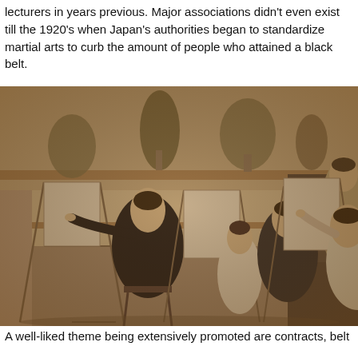lecturers in years previous. Major associations didn't even exist till the 1920's when Japan's authorities began to standardize martial arts to curb the amount of people who attained a black belt.
[Figure (photo): A historical sepia-toned photograph showing several women and a child seated at easels in what appears to be an art class or studio. Shelves with plants and objects are visible in the background. The women are drawing or painting on canvases mounted on wooden easels.]
A well-liked theme being extensively promoted are contracts, belt